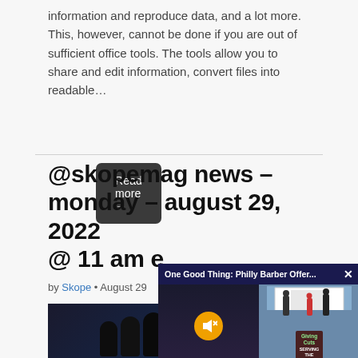information and reproduce data, and a lot more. This, however, cannot be done if you are out of sufficient office tools. The tools allow you to share and edit information, convert files into readable…
Read more →
@skopemag news – monday – august 29, 2022 @ 11 am e
by Skope • August 29
[Figure (photo): Group photo of people dressed in dark clothing against a dark background, resembling a K-pop group photo]
[Figure (screenshot): Video overlay popup titled 'One Good Thing: Philly Barber Offer...' with a mute button on dark left panel and outdoor scene with tent and sign on right panel]